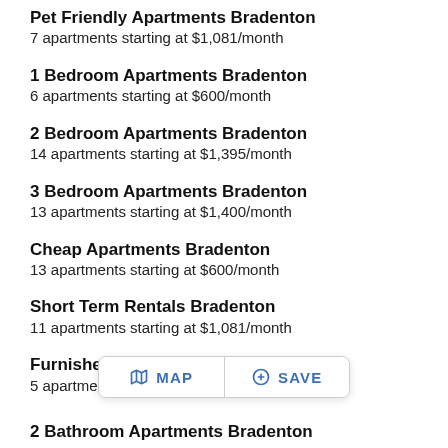Pet Friendly Apartments Bradenton
7 apartments starting at $1,081/month
1 Bedroom Apartments Bradenton
6 apartments starting at $600/month
2 Bedroom Apartments Bradenton
14 apartments starting at $1,395/month
3 Bedroom Apartments Bradenton
13 apartments starting at $1,400/month
Cheap Apartments Bradenton
13 apartments starting at $600/month
Short Term Rentals Bradenton
11 apartments starting at $1,081/month
Furnished Apartments Bradenton
5 apartments starting at $1,081/month
2 Bathroom Apartments Bradenton